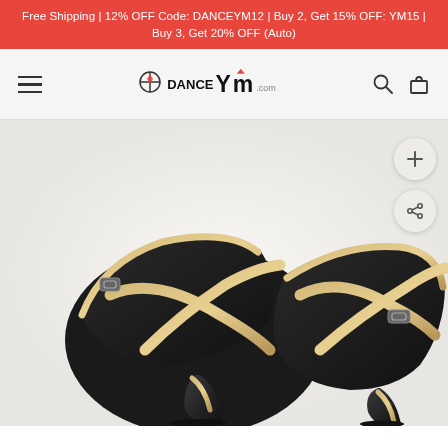Free Shipping | 12% OFF Code: DANCEYM12 | Buy 2, Get 15% OFF: YM15 | Buy 3, Get 20% OFF (Auto)
[Figure (logo): DanceYM.com logo with hamburger menu, search icon, and cart icon in navigation bar]
[Figure (photo): Close-up photograph of two black dance shoes with gold/champagne leather cross-strap details and ankle buckles, showing the front and side view of ballroom/latin dance heels]